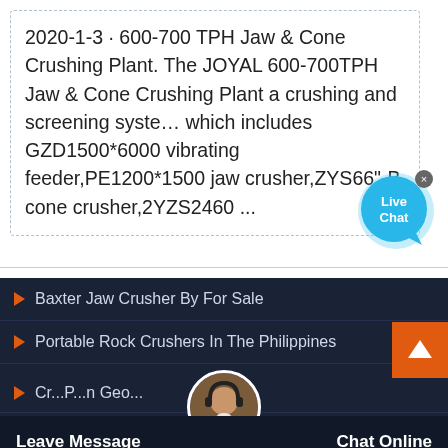2020-1-3 · 600-700 TPH Jaw & Cone Crushing Plant. The JOYAL 600-700TPH Jaw & Cone Crushing Plant a crushing and screening syste… which includes GZD1500*6000 vibrating feeder,PE1200*1500 jaw crusher,ZYS66"-B cone crusher,2YZS2460 ...
[Figure (illustration): Live Chat button bubble in cyan/blue color with 'Live Chat' text and a close X button]
Baxter Jaw Crusher By For Sale
Portable Rock Crushers In The Philippines
Cr...P...n Geo...
Leave Message    Chat Online